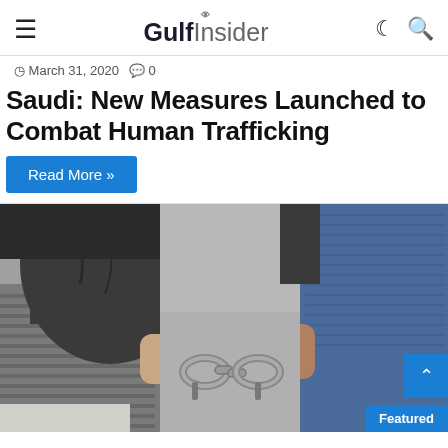GulfInsider
March 31, 2020  0
Saudi: New Measures Launched to Combat Human Trafficking
Read More »
[Figure (photo): Two people handcuffed together at the wrists, one wearing a dark jacket and striped shirt, the other in a denim jacket. Close-up view showing the handcuffs linking their arms.]
Featured